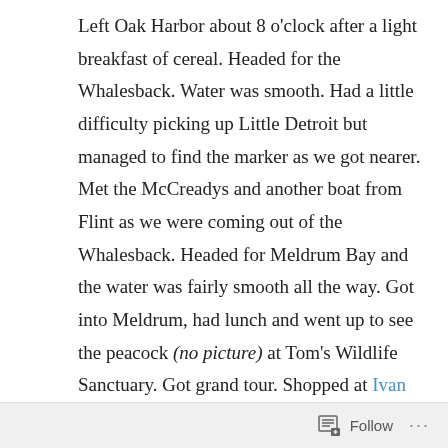Left Oak Harbor about 8 o'clock after a light breakfast of cereal. Headed for the Whalesback. Water was smooth. Had a little difficulty picking up Little Detroit but managed to find the marker as we got nearer. Met the McCreadys and another boat from Flint as we were coming out of the Whalesback. Headed for Meldrum Bay and the water was fairly smooth all the way. Got into Meldrum, had lunch and went up to see the peacock (no picture) at Tom's Wildlife Sanctuary. Got grand tour. Shopped at Ivan Trick store this time. He has a lot more than the little one near the docks. Decided to spend the night here because the wind was picking up and getting into Pilot Cove would be a job. Nick's cold also came on with vigor and he went to bed with a
Follow ···